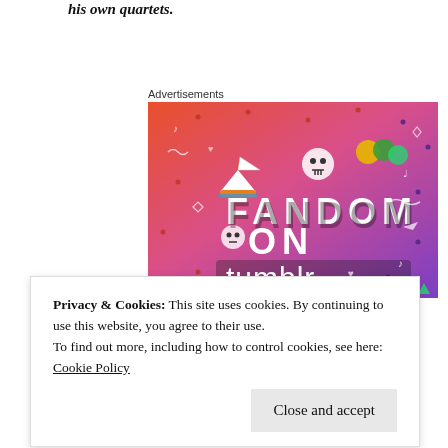his own quartets.
Advertisements
[Figure (illustration): Fandom on Tumblr advertisement banner with colorful gradient background (orange to purple) featuring cartoon icons and large bold text reading 'FANDOM ON tumblr']
Privacy & Cookies: This site uses cookies. By continuing to use this website, you agree to their use.
To find out more, including how to control cookies, see here: Cookie Policy
Close and accept
of Figaro, arias from Don Giovani and finally